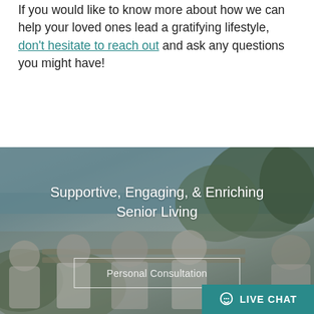If you would like to know more about how we can help your loved ones lead a gratifying lifestyle, don't hesitate to reach out and ask any questions you might have!
[Figure (photo): Background photo of elderly people sitting on a bench outdoors near the ocean with trees, overlaid with centered white text reading 'Supportive, Engaging, & Enriching Senior Living' and a 'Personal Consultation' button outline, plus a teal 'LIVE CHAT' button in the bottom right corner.]